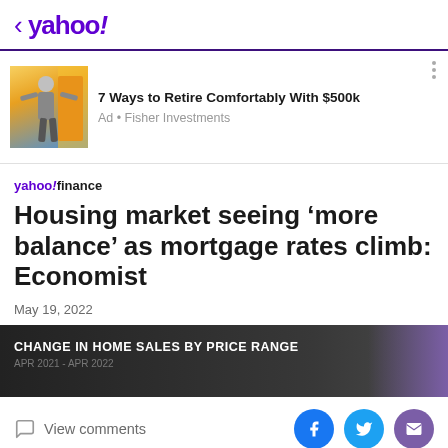< yahoo!
[Figure (other): Advertisement banner: 7 Ways to Retire Comfortably With $500k - Ad from Fisher Investments, with image of athletic man outdoors]
7 Ways to Retire Comfortably With $500k
Ad • Fisher Investments
yahoo!finance
Housing market seeing ‘more balance’ as mortgage rates climb: Economist
May 19, 2022
[Figure (screenshot): Video thumbnail showing 'CHANGE IN HOME SALES BY PRICE RANGE' chart with dark background and purple gradient]
View comments